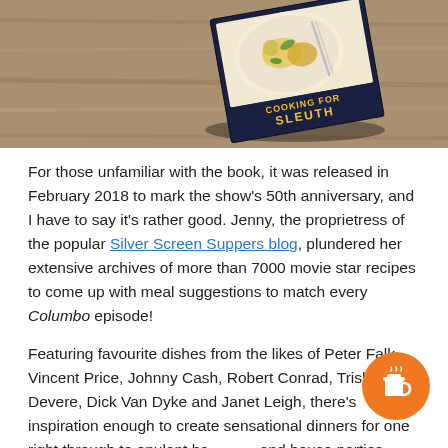[Figure (photo): Photo of a book titled 'Columbo Sleuth' or similar, lying on a wooden table surface with a fork visible, shot from above at an angle.]
For those unfamiliar with the book, it was released in February 2018 to mark the show's 50th anniversary, and I have to say it's rather good. Jenny, the proprietress of the popular Silver Screen Suppers blog, plundered her extensive archives of more than 7000 movie star recipes to come up with meal suggestions to match every Columbo episode!
Featuring favourite dishes from the likes of Peter Falk, Vincent Price, Johnny Cash, Robert Conrad, Trish Van Devere, Dick Van Dyke and Janet Leigh, there's inspiration enough to create sensational dinners for one right through to opulent banquets and house parties – including enough chilli variations to keep purists happy (squirrel excluded).